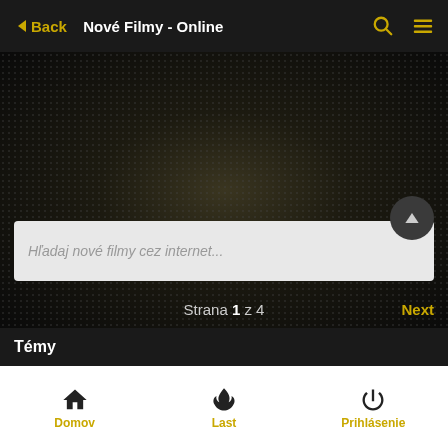Back  Nové Filmy - Online
[Figure (screenshot): Dark textured background with dot pattern, large empty content area]
Hľadaj nové filmy cez internet...
Strana 1 z 4
Next
Témy
Domov  Last  Prihlásenie